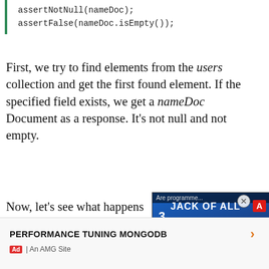First, we try to find elements from the users collection and get the first found element. If the specified field exists, we get a nameDoc Document as a response. It's not null and not empty.
Now, let's see what happens when we try to find a non-existing field:
[Figure (screenshot): Video overlay showing 'Are programme...' caption with 'JACK OF ALL TRADES?' text, programming language logos (Angular, Vue, JS, PHP), and a play button. Close buttons visible.]
PERFORMANCE TUNING MONGODB
Ad | An AMG Site